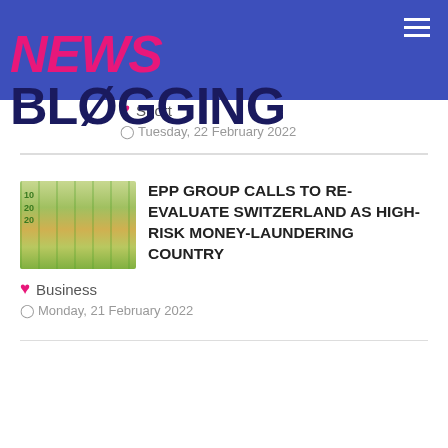NEWS BLOGGING
Sport · Tuesday, 22 February 2022
[Figure (photo): Euro banknotes fanned out on a surface]
EPP GROUP CALLS TO RE-EVALUATE SWITZERLAND AS HIGH-RISK MONEY-LAUNDERING COUNTRY
Business · Monday, 21 February 2022